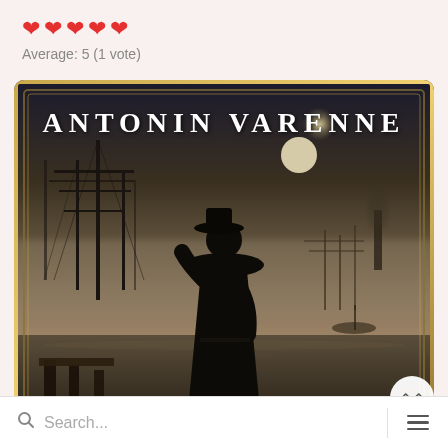❤ ❤ ❤ ❤ ❤  Average: 5 (1 vote)
[Figure (photo): Book cover of Antonin Varenne — a dark atmospheric image showing the silhouette of a man in a long coat and top hat standing on a dock, looking out at misty harbor with tall sailing ships in the background. The author name 'ANTONIN VARENNE' is written at the top in white serif letters. The image has a vintage sepia-toned look with a decorative gold border frame.]
Search...